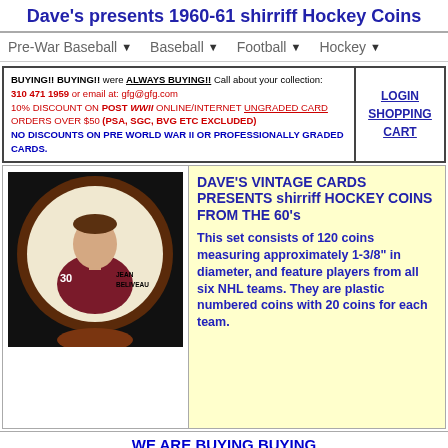Dave's presents 1960-61 shirriff Hockey Coins
Pre-War Baseball ▼   Baseball ▼   Football ▼   Hockey ▼
BUYING!! BUYING!! were ALWAYS BUYING!! Call about your collection: 310 471 1959 or email at: gfg@gfg.com
10% DISCOUNT ON POST WWII ONLINE/INTERNET UNGRADED CARD ORDERS OVER $50 (PSA, SGC, BVG ETC EXCLUDED)
NO DISCOUNTS ON PRE WORLD WAR II OR PROFESSIONALLY GRADED CARDS.
LOGIN
SHOPPING
CART
[Figure (photo): Photo of a shirriff hockey coin featuring Jean Beliveau, number 30, in a maroon hockey jersey, circular coin with brown rim]
DAVE'S VINTAGE CARDS PRESENTS shirriff HOCKEY COINS FROM THE 60's

This set consists of 120 coins measuring approximately 1-3/8" in diameter, and feature players from all six NHL teams. They are plastic numbered coins with 20 coins for each team.
WE ARE BUYING BUYING